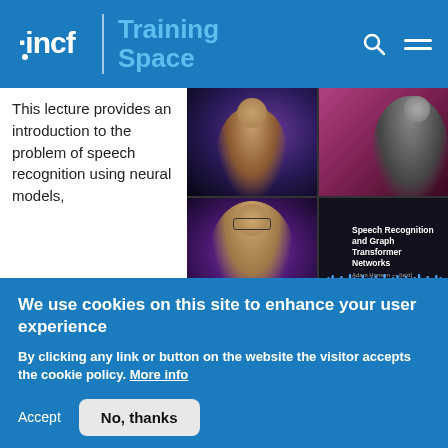incf | Training Space
This lecture provides an introduction to the problem of speech recognition using neural models, emphasizing the CTC loss for training and inference when
[Figure (screenshot): Four-panel video grid: top-left shows a person against a purple galaxy background, top-right shows a person against a pink background, bottom-left shows a person with glasses against a purple space background, bottom-right shows a slide reading 'Speech Recognition and Graph Transformer Networks' with a waveform graphic.]
We use cookies on this site to enhance your user experience
By clicking any link or button on the website the visitor accepts the cookie policy. More info
Accept
No, thanks